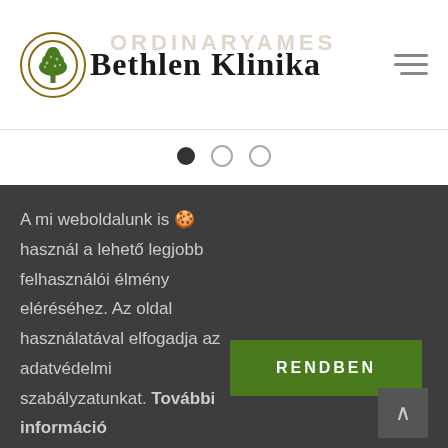[Figure (logo): Bethlen Klinika logo with tree icon in circle and serif text]
[Figure (other): Hamburger menu icon (three horizontal lines)]
[Figure (other): Carousel dots: one filled, two outlined]
A mi weboldalunk is 🍪 használ a lehető legjobb felhasználói élmény eléréséhez. Az oldal használatával elfogadja az adatvédelmi szabályzatunkat. További információ
[Figure (other): RENDBEN (OK) green button]
[Figure (other): Scroll to top arrow button]